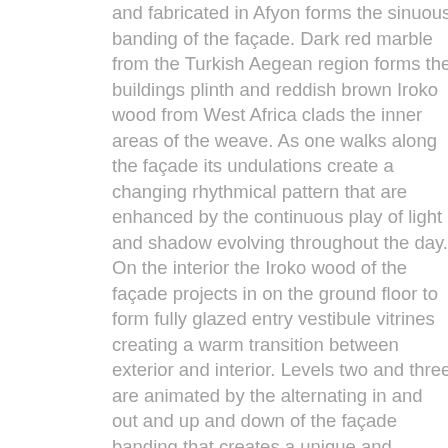and fabricated in Afyon forms the sinuous banding of the façade. Dark red marble from the Turkish Aegean region forms the buildings plinth and reddish brown Iroko wood from West Africa clads the inner areas of the weave. As one walks along the façade its undulations create a changing rhythmical pattern that are enhanced by the continuous play of light and shadow evolving throughout the day. On the interior the Iroko wood of the façade projects in on the ground floor to form fully glazed entry vestibule vitrines creating a warm transition between exterior and interior. Levels two and three are animated by the alternating in and out and up and down of the façade banding that creates a unique and asymmetric view